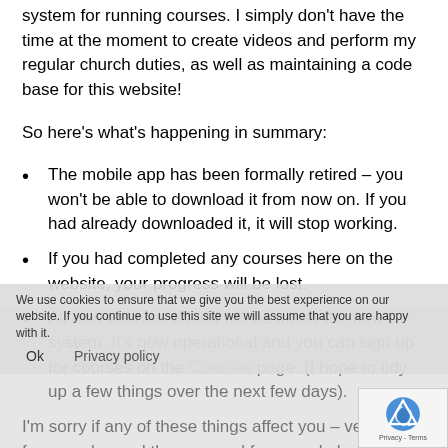system for running courses. I simply don't have the time at the moment to create videos and perform my regular church duties, as well as maintaining a code base for this website!
So here's what's happening in summary:
The mobile app has been formally retired – you won't be able to download it from now on. If you had already downloaded it, it will stop working.
If you had completed any courses here on the website, your progress will be lost.
All new courses added will be under the new system. It's now operational and you can sign up for courses on the Courses page. (I hope to tidy up a few things over the next few days).
I'm sorry if any of these things affect you – very few people used the app, and few people had